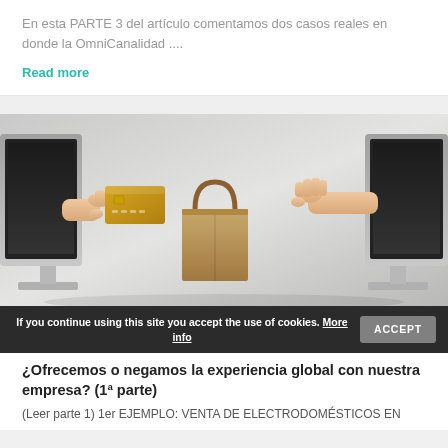En esta PARTE 3 del artículo comentamos dos casos reales en donde la OmniCanalidad ....
Read more
[Figure (photo): Two computer monitors facing each other with human hands emerging from the screens — one hand holding a gold credit card, the other holding a brown shopping bag — illustrating online e-commerce transaction]
If you continue using this site you accept the use of cookies. More info   ACCEPT
¿Ofrecemos o negamos la experiencia global con nuestra empresa? (1ª parte)
(Leer parte 1) 1er EJEMPLO: VENTA DE ELECTRODOMÉSTICOS EN